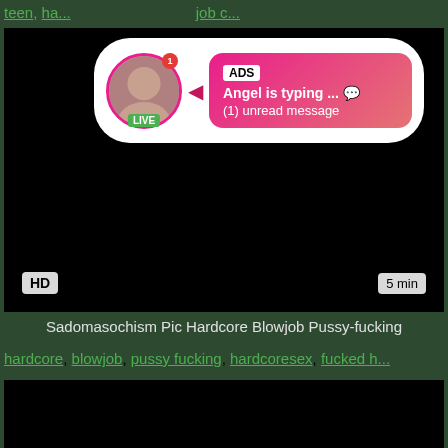teen, ha... job c...
[Figure (screenshot): Video thumbnail showing dark/black content with HD badge and 5 min duration label, overlaid with an ad notification showing a live avatar with LIVE badge, ADS label, 'Angel is typing ... (1) unread message']
Sadomasochism Pic Hardcore Blowjob Pussy-fucking
hardcore, blowjob, pussy fucking, hardcoresex, fucked h...
[Figure (screenshot): Second video thumbnail, black/dark content]